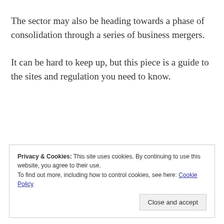The sector may also be heading towards a phase of consolidation through a series of business mergers.
It can be hard to keep up, but this piece is a guide to the sites and regulation you need to know.
Privacy & Cookies: This site uses cookies. By continuing to use this website, you agree to their use.
To find out more, including how to control cookies, see here: Cookie Policy
Close and accept